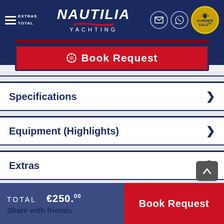NAUTILIA YACHTING — Summer Sale
Book Request
Specifications
Equipment (Highlights)
Extras
Location: Athens (Alimos)
TOTAL €250.00 | Book Request | Share with friends